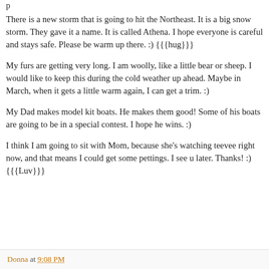There is a new storm that is going to hit the Northeast. It is a big snow storm. They gave it a name. It is called Athena. I hope everyone is careful and stays safe. Please be warm up there. :) {{{hug}}}
My furs are getting very long. I am woolly, like a little bear or sheep. I would like to keep this during the cold weather up ahead. Maybe in March, when it gets a little warm again, I can get a trim. :)
My Dad makes model kit boats. He makes them good! Some of his boats are going to be in a special contest. I hope he wins. :)
I think I am going to sit with Mom, because she's watching teevee right now, and that means I could get some pettings. I see u later. Thanks! :) {{{Luv}}}
Donna at 9:08 PM